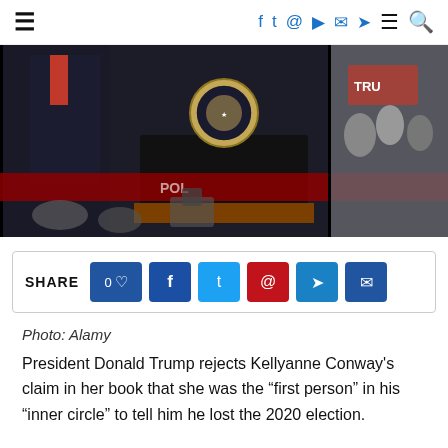Navigation header with hamburger menu, social icons (facebook, twitter, instagram, youtube, email, telegram), menu, and search
[Figure (photo): Photo of a political rally scene with a person at a presidential podium with seal, red banner, crowd in background]
[Figure (infographic): Share bar with like button showing 0 likes, and social share buttons for Facebook, Twitter, Pinterest, Telegram, and Email]
Photo: Alamy
President Donald Trump rejects Kellyanne Conway’s claim in her book that she was the “first person” in his “inner circle” to tell him he lost the 2020 election.